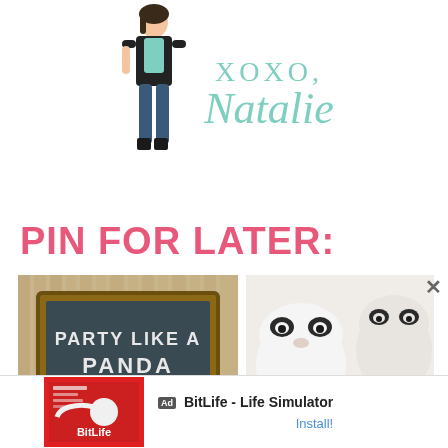[Figure (illustration): Blog logo with illustrated female figure on left and stylized text 'XOXO, Natalie' in mint/teal color on the right]
PIN FOR LATER:
[Figure (photo): Chalkboard sign on bamboo background reading 'Party Like A Panda']
[Figure (photo): White panda-face mugs/cups with black spots, close-up photo]
[Figure (screenshot): BitLife - Life Simulator advertisement banner with Ad badge and Install button]